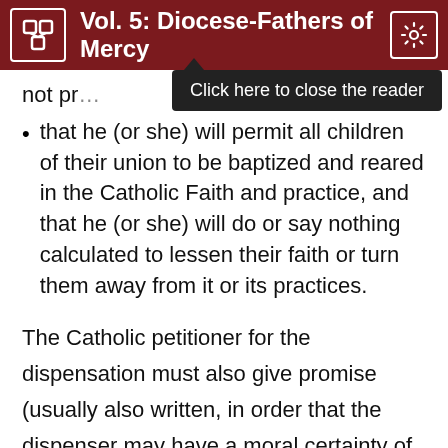Vol. 5: Diocese-Fathers of Mercy
not pr…
that he (or she) will permit all children of their union to be baptized and reared in the Catholic Faith and practice, and that he (or she) will do or say nothing calculated to lessen their faith or turn them away from it or its practices.
The Catholic petitioner for the dispensation must also give promise (usually also written, in order that the dispenser may have a moral certainty of the absence of danger to the substantial ends of the sacrament) that he (or she) will strictly attend to his (or her) personal religious duties and have all the